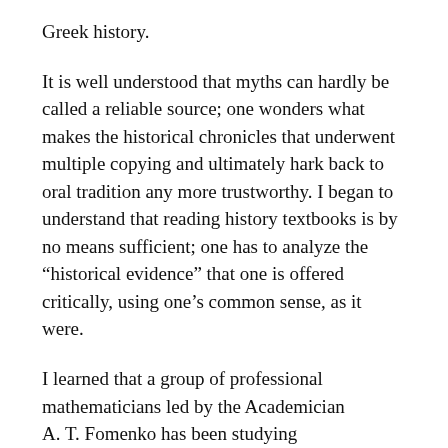Greek history.
It is well understood that myths can hardly be called a reliable source; one wonders what makes the historical chronicles that underwent multiple copying and ultimately hark back to oral tradition any more trustworthy. I began to understand that reading history textbooks is by no means sufficient; one has to analyze the “historical evidence” that one is offered critically, using one’s common sense, as it were.
I learned that a group of professional mathematicians led by the Academician A. T. Fomenko has been studying chronological issues for twenty years and that their research had yielded some very interesting results. The critical side of these books is very serious; they contain an admirable amount of valuable materials and